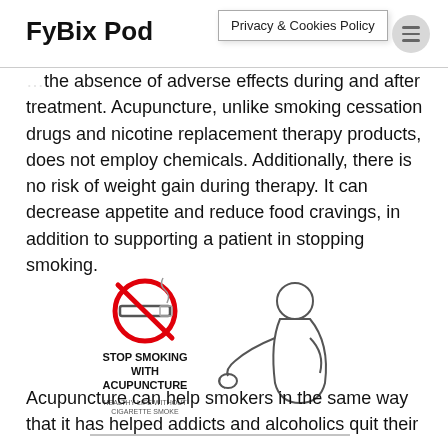FyBix Pod | Privacy & Cookies Policy
the absence of adverse effects during and after treatment. Acupuncture, unlike smoking cessation drugs and nicotine replacement therapy products, does not employ chemicals. Additionally, there is no risk of weight gain during therapy. It can decrease appetite and reduce food cravings, in addition to supporting a patient in stopping smoking.
[Figure (illustration): Stop Smoking With Acupuncture illustration: a no-smoking symbol (red circle with diagonal line over a cigarette), text reading STOP SMOKING WITH ACUPUNCTURE and HEALTHY LIFE WITHOUT CIGARETTE SMOKE, alongside a line drawing of a person coughing or holding their fist to their mouth.]
Acupuncture can help smokers in the same way that it has helped addicts and alcoholics quit their